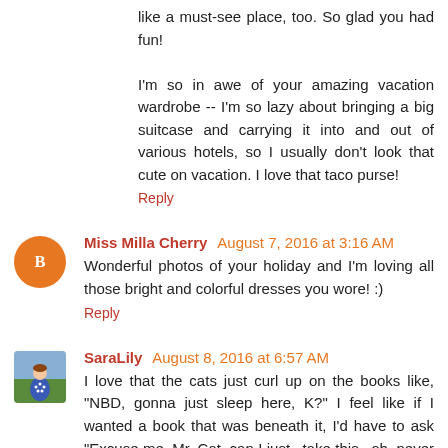like a must-see place, too. So glad you had fun!

I'm so in awe of your amazing vacation wardrobe -- I'm so lazy about bringing a big suitcase and carrying it into and out of various hotels, so I usually don't look that cute on vacation. I love that taco purse!
Reply
Miss Milla Cherry August 7, 2016 at 3:16 AM
Wonderful photos of your holiday and I'm loving all those bright and colorful dresses you wore! :)
Reply
SaraLily August 8, 2016 at 6:57 AM
I love that the cats just curl up on the books like, "NBD, gonna just sleep here, K?" I feel like if I wanted a book that was beneath it, I'd have to ask "Excuse me, Mr. Cat, can I just...take this...oh, never mind, you keep it." HAHA! Love hearing about your trips - hope soon it's Boston!!!!! :)